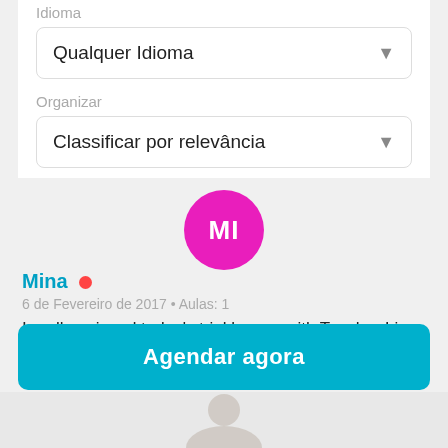Idioma
Qualquer Idioma
Organizar
Classificar por relevância
[Figure (illustration): Circular avatar with magenta/pink background and white initials MI]
Mina
6 de Fevereiro de 2017 • Aulas: 1
I really enjoyed today's trial lesson with Teacher Lisa. She is very kind, friendly and enthusiastic during lesson. She explained how her lesson was and showed materials she
Ler mais
Agendar agora